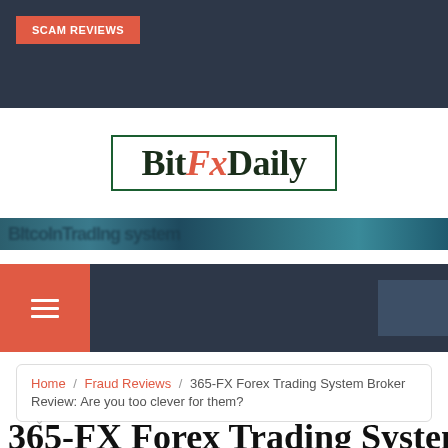SCAM REVIEWS
[Figure (logo): BitFxDaily logo with green border box, 'Bit' and 'Daily' in dark green/black serif font, 'Fx' in red italic]
[Figure (screenshot): Blurred teal/dark blue banner strip with partially visible text]
[Figure (screenshot): Dark navy navigation bar with red hamburger menu button on left and dark square on right]
Home / Fraud Reviews / 365-FX Forex Trading System Broker Review: Are you too clever for them?
365-FX Forex Trading System